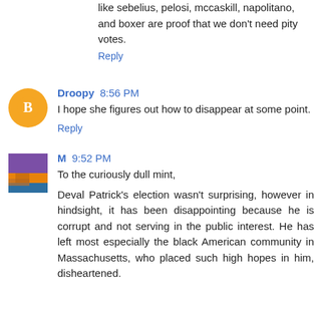like sebelius, pelosi, mccaskill, napolitano, and boxer are proof that we don't need pity votes.
Reply
Droopy 8:56 PM
I hope she figures out how to disappear at some point.
Reply
M 9:52 PM
To the curiously dull mint,
Deval Patrick's election wasn't surprising, however in hindsight, it has been disappointing because he is corrupt and not serving in the public interest. He has left most especially the black American community in Massachusetts, who placed such high hopes in him, disheartened.